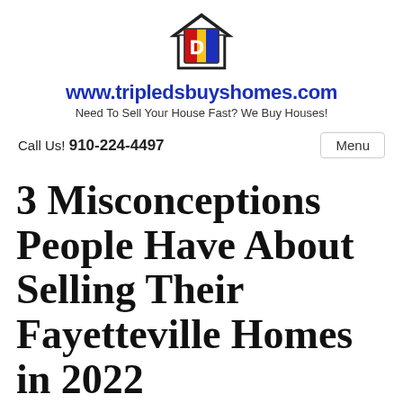[Figure (logo): Triple D's Buy Homes logo: house outline with a colorful D emblem (red, blue, yellow) inside]
www.tripledsbuyshomes.com
Need To Sell Your House Fast? We Buy Houses!
Call Us! 910-224-4497
Menu
3 Misconceptions People Have About Selling Their Fayetteville Homes in 2022